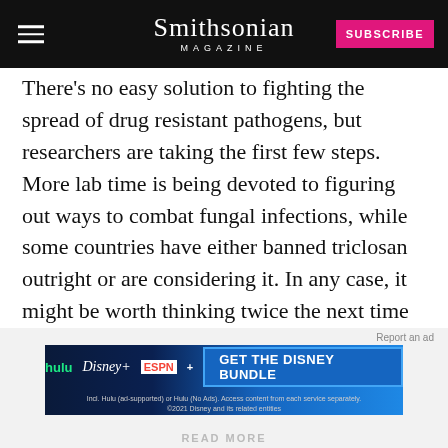Smithsonian MAGAZINE
There's no easy solution to fighting the spread of drug resistant pathogens, but researchers are taking the first few steps. More lab time is being devoted to figuring out ways to combat fungal infections, while some countries have either banned triclosan outright or are considering it. In any case, it might be worth thinking twice the next time you're considering buying a bottle of antibacterial soap at the supermarket.
Report an ad
[Figure (screenshot): Hulu Disney+ ESPN+ advertisement: GET THE DISNEY BUNDLE. Incl. Hulu (ad-supported) or Hulu (No Ads). Access content from each service separately. ©2021 Disney and its related entities]
READ MORE